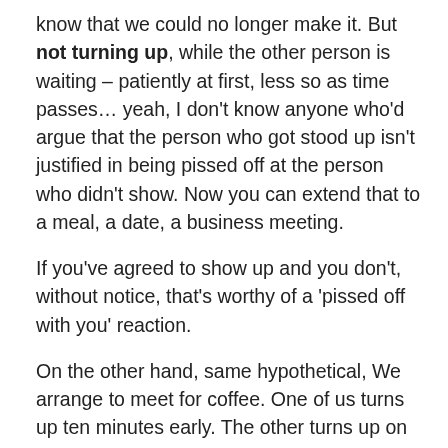know that we could no longer make it. But not turning up, while the other person is waiting – patiently at first, less so as time passes… yeah, I don't know anyone who'd argue that the person who got stood up isn't justified in being pissed off at the person who didn't show. Now you can extend that to a meal, a date, a business meeting.
If you've agreed to show up and you don't, without notice, that's worthy of a 'pissed off with you' reaction.
On the other hand, same hypothetical, We arrange to meet for coffee. One of us turns up ten minutes early. The other turns up on time. It'd be as ludicrous for one to get pissed off at the other for being early as it would be for the other to be pissed off that someone turned up 'on time'.
Because it's not – in that second scenario – that there is a